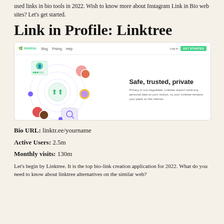used links in bio tools in 2022. Wish to know more about Instagram Link in Bio web sites? Let's get started.
Link in Profile: Linktree
[Figure (screenshot): Screenshot of Linktree website showing navigation bar with logo, Blog, Pricing, Help links and Log in / Get started buttons. Main content shows a circular network diagram with profile photos and icons on the left, and 'Safe, trusted, private' heading with description text on the right.]
Bio URL: linktr.ee/yourname
Active Users: 2.5m
Monthly visits: 130m
Let's begin by Linktree. It is the top bio-link creation application for 2022. What do you need to know about linktree alternatives on the similar web?